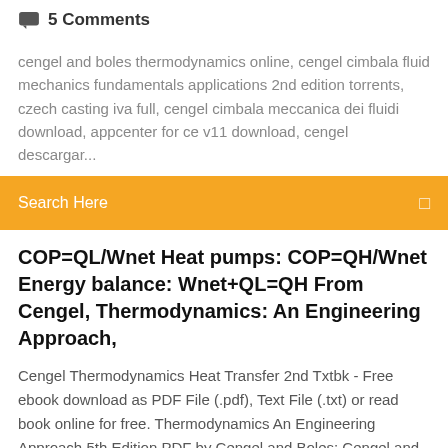5 Comments
cengel and boles thermodynamics online, cengel cimbala fluid mechanics fundamentals applications 2nd edition torrents, czech casting iva full, cengel cimbala meccanica dei fluidi download, appcenter for ce v11 download, cengel descargar...
Search Here
COP=QL/Wnet Heat pumps: COP=QH/Wnet Energy balance: Wnet+QL=QH From Cengel, Thermodynamics: An Engineering Approach,
Cengel Thermodynamics Heat Transfer 2nd Txtbk - Free ebook download as PDF File (.pdf), Text File (.txt) or read book online for free. Thermodynamics An Engineering Approach 5th Edition PDF by Cengel and Boles: Cengel and Boles are the two authors who has written a book on thermodynamics which includes various concepts that are required for a mechanical